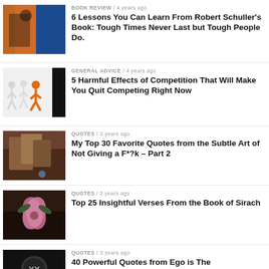BOOK REVIEW / 4 years ago
6 Lessons You Can Learn From Robert Schuller's Book: Tough Times Never Last but Tough People Do.
GENERAL ADVICE / 4 years ago
5 Harmful Effects of Competition That Will Make You Quit Competing Right Now
QUOTES / 3 years ago
My Top 30 Favorite Quotes from the Subtle Art of Not Giving a F*?k – Part 2
QUOTES / 3 years ago
Top 25 Insightful Verses From the Book of Sirach
QUOTES / 3 years ago
40 Powerful Quotes from Ego is The